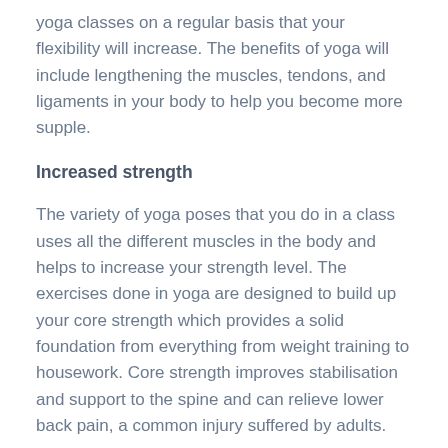yoga classes on a regular basis that your flexibility will increase. The benefits of yoga will include lengthening the muscles, tendons, and ligaments in your body to help you become more supple.
Increased strength
The variety of yoga poses that you do in a class uses all the different muscles in the body and helps to increase your strength level. The exercises done in yoga are designed to build up your core strength which provides a solid foundation from everything from weight training to housework. Core strength improves stabilisation and support to the spine and can relieve lower back pain, a common injury suffered by adults.